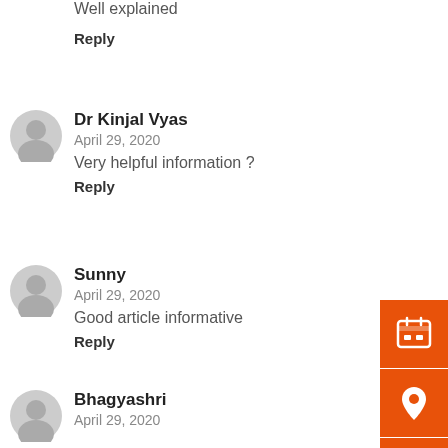Well explained
Reply
Dr Kinjal Vyas
April 29, 2020
Very helpful information ?
Reply
Sunny
April 29, 2020
Good article informative
Reply
Bhagyashri
April 29, 2020
[Figure (infographic): Orange sidebar with calendar icon, location pin icon, and rupee coin icon]